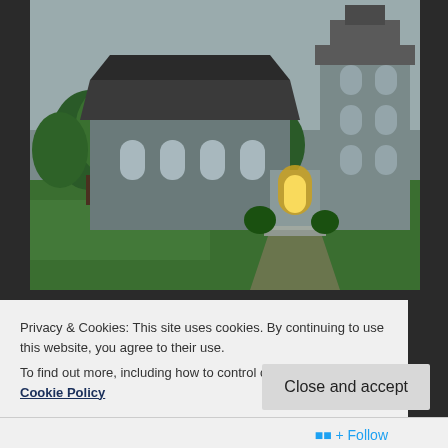[Figure (illustration): 3D rendered image of a church building with a tall tower on the right side, gray siding, arched windows, surrounded by green trees and lawn with benches and a yellow-lit entrance.]
Generations of Barimens have been married here. And just as many have been put to rest. It has provided comfort, inspiration, joy, and healing to those who have chosen to come and worship every
Privacy & Cookies: This site uses cookies. By continuing to use this website, you agree to their use.
To find out more, including how to control cookies, see here: Cookie Policy
Close and accept